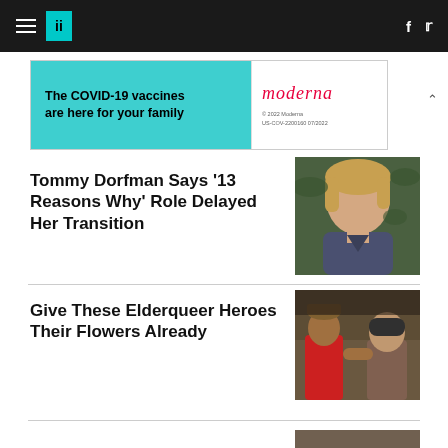HuffPost navigation with hamburger menu, logo, Facebook and Twitter icons
[Figure (infographic): Advertisement banner: 'The COVID-19 vaccines are here for your family' with Moderna logo]
Tommy Dorfman Says '13 Reasons Why' Role Delayed Her Transition
[Figure (photo): Photo of Tommy Dorfman, a blonde woman in a dark blue sweater in front of green foliage]
Give These Elderqueer Heroes Their Flowers Already
[Figure (photo): Photo of group of people outdoors, including person in red shirt]